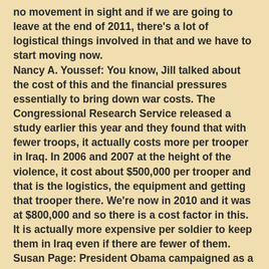no movement in sight and if we are going to leave at the end of 2011, there's a lot of logistical things involved in that and we have to start moving now.
Nancy A. Youssef: You know, Jill talked about the cost of this and the financial pressures essentially to bring down war costs. The Congressional Research Service released a study earlier this year and they found that with fewer troops, it actually costs more per trooper in Iraq. In 2006 and 2007 at the height of the violence, it cost about $500,000 per trooper and that is the logistics, the equipment and getting that trooper there. We're now in 2010 and it was at $800,000 and so there is a cost factor in this. It is actually more expensive per soldier to keep them in Iraq even if there are fewer of them.
Susan Page: President Obama campaigned as a candidate on a promise to get the U.S. forces out of Iraq. So Jill, what if he fulfils that promise? We see troops coming out and the situation there really...